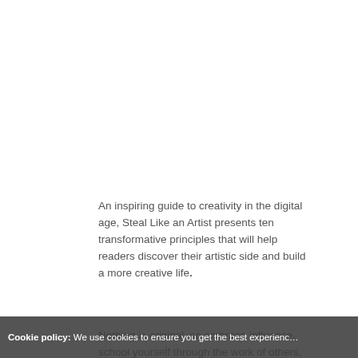An inspiring guide to creativity in the digital age, Steal Like an Artist presents ten transformative principles that will help readers discover their artistic side and build a more creative life.
Nothing is original, so embrace influence, school yourself through the work of others, remix and reimagine to discover your own path. Follow interests wherever they take you—what feels like a hobby may turn into you life's work. Forget the old cliché about writing what you know: Instead, write the book you want to read, make the movie you want to watch.
Cookie policy: We use cookies to ensure you get the best experience